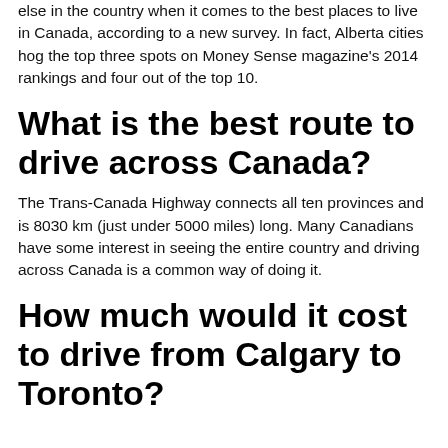else in the country when it comes to the best places to live in Canada, according to a new survey. In fact, Alberta cities hog the top three spots on Money Sense magazine's 2014 rankings and four out of the top 10.
What is the best route to drive across Canada?
The Trans-Canada Highway connects all ten provinces and is 8030 km (just under 5000 miles) long. Many Canadians have some interest in seeing the entire country and driving across Canada is a common way of doing it.
How much would it cost to drive from Calgary to Toronto?